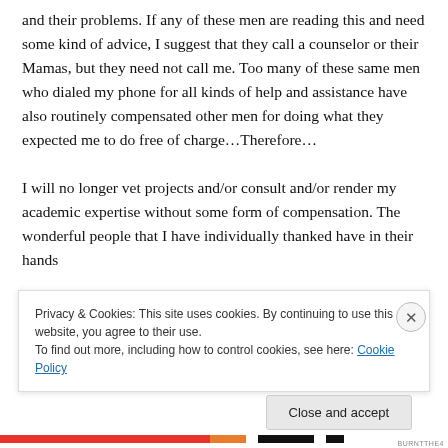and their problems. If any of these men are reading this and need some kind of advice, I suggest that they call a counselor or their Mamas, but they need not call me. Too many of these same men who dialed my phone for all kinds of help and assistance have also routinely compensated other men for doing what they expected me to do free of charge…Therefore…

I will no longer vet projects and/or consult and/or render my academic expertise without some form of compensation. The wonderful people that I have individually thanked have in their hands...
Privacy & Cookies: This site uses cookies. By continuing to use this website, you agree to their use.
To find out more, including how to control cookies, see here: Cookie Policy
Close and accept